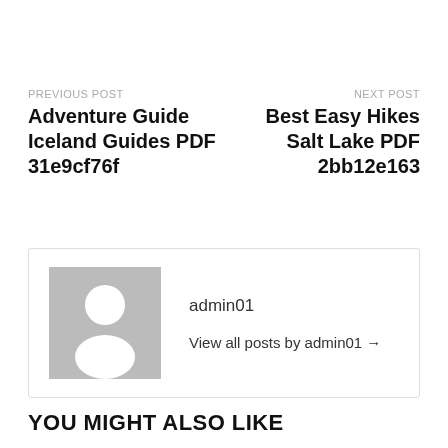PREVIOUS POST
Adventure Guide Iceland Guides PDF 31e9cf76f
NEXT POST
Best Easy Hikes Salt Lake PDF 2bb12e163
admin01
[Figure (illustration): Default avatar placeholder — grey square with white silhouette of a person]
View all posts by admin01 →
YOU MIGHT ALSO LIKE